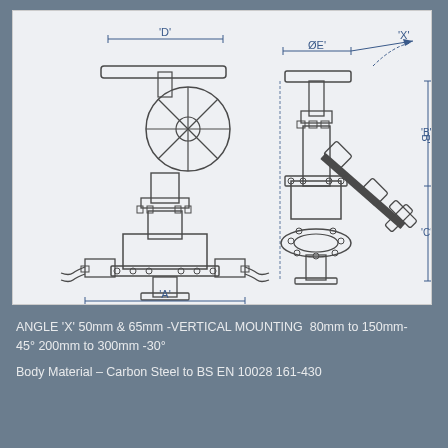[Figure (engineering-diagram): Technical engineering drawing of an angle valve shown in two views: a front view (left) showing a gate valve with handwheel, flanged body, with dimension labels 'D' (width) and 'A' (base width); and a side/angled view (right) showing the valve at an angle with dimension labels ØE (top width), X (angle indicator), B (upper height), and C (lower height). The drawings include detailed mechanical components: flanges, bonnet, stem, handwheel/lever actuator, bolts, and body. Dimension arrows and annotation lines are drawn in blue/dark lines on a light grey background.]
ANGLE 'X' 50mm & 65mm -VERTICAL MOUNTING  80mm to 150mm- 45° 200mm to 300mm -30°
Body Material – Carbon Steel to BS EN 10028 161-430